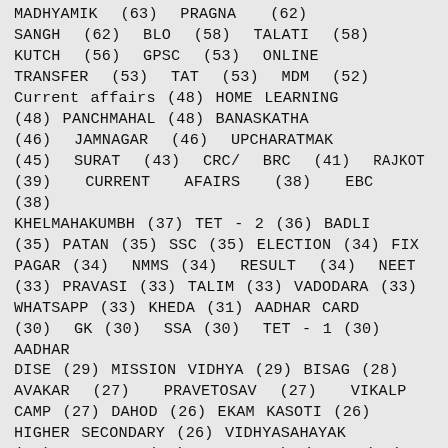MADHYAMIK (63) PRAGNA (62) SANGH (62) BLO (58) TALATI (58) KUTCH (56) GPSC (53) ONLINE TRANSFER (53) TAT (53) MDM (52) Current affairs (48) HOME LEARNING (48) PANCHMAHAL (48) BANASKATHA (46) JAMNAGAR (46) UPCHARATMAK (45) SURAT (43) CRC/ BRC (41) RAJKOT (39) CURRENT AFAIRS (38) EBC (38) KHELMAHAKUMBH (37) TET - 2 (36) BADLI (35) PATAN (35) SSC (35) ELECTION (34) FIX PAGAR (34) NMMS (34) RESULT (34) NEET (33) PRAVASI (33) TALIM (33) VADODARA (33) WHATSAPP (33) KHEDA (31) AADHAR CARD (30) GK (30) SSA (30) TET - 1 (30) AADHAR DISE (29) MISSION VIDHYA (29) BISAG (28) AVAKAR (27) PRAVETOSAV (27) VIKALP CAMP (27) DAHOD (26) EKAM KASOTI (26) HIGHER SECONDARY (26) VIDHYASAHAYAK (26) MAHESANA (25) STD - 5 (25) TET (25) CRC / BRC (24) NADIAD (24) BHAVNAGAR (23) EXCEL FILE (23) HSC (23) SABARKANTHA (23)